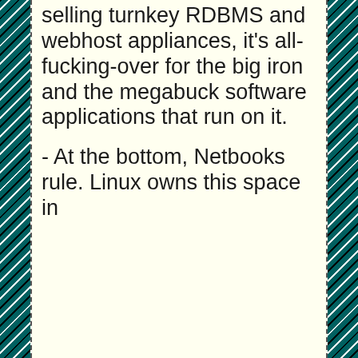selling turnkey RDBMS and webhost appliances, it's all-fucking-over for the big iron and the megabuck software applications that run on it.
- At the bottom, Netbooks rule. Linux owns this space in